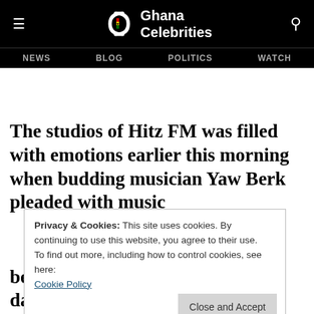Ghana Celebrities — NEWS | BLOG | POLITICS | WATCH
The studios of Hitz FM was filled with emotions earlier this morning when budding musician Yaw Berk pleaded with music
Privacy & Cookies: This site uses cookies. By continuing to use this website, you agree to their use.
To find out more, including how to control cookies, see here: Cookie Policy
[Close and Accept]
bedbug infested studio plus other damning